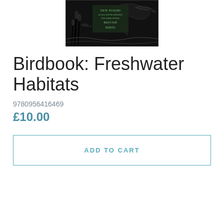[Figure (illustration): Book cover image for Birdbook: Freshwater Habitats — black and white linocut-style illustration of birds with text 'New Poems & Illustrations Celebrating British Birds' in green lettering on a dark background]
Birdbook: Freshwater Habitats
9780956416469
£10.00
ADD TO CART